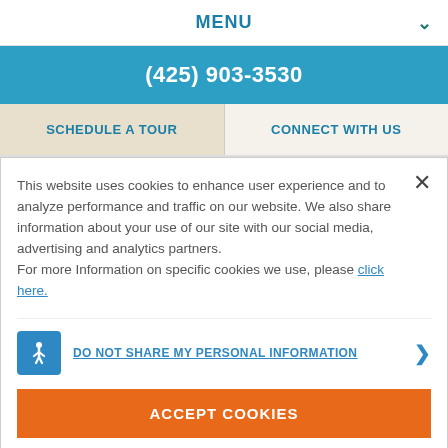MENU
(425) 903-3530
SCHEDULE A TOUR
CONNECT WITH US
This website uses cookies to enhance user experience and to analyze performance and traffic on our website. We also share information about your use of our site with our social media, advertising and analytics partners.
For more Information on specific cookies we use, please click here.
DO NOT SHARE MY PERSONAL INFORMATION
ACCEPT COOKIES